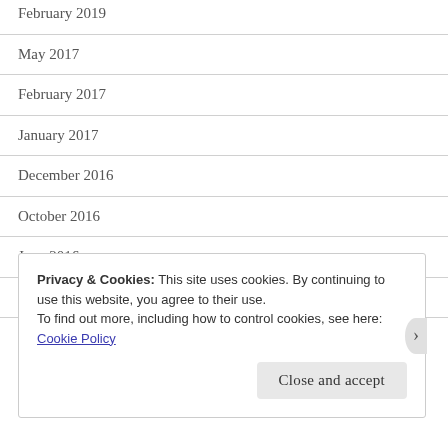February 2019
May 2017
February 2017
January 2017
December 2016
October 2016
June 2016
May 2016
December 2015
Privacy & Cookies: This site uses cookies. By continuing to use this website, you agree to their use.
To find out more, including how to control cookies, see here: Cookie Policy
Close and accept